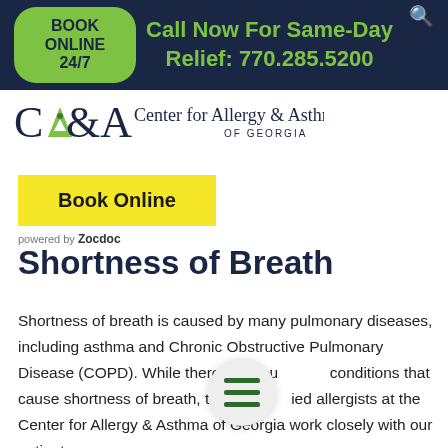BOOK ONLINE 24/7 | Call Now For Same-Day Relief: 770.285.5200
[Figure (logo): CA&A Center for Allergy & Asthma of Georgia logo]
Book Online
Shortness of Breath
Shortness of breath is caused by many pulmonary diseases, including asthma and Chronic Obstructive Pulmonary Disease (COPD). While there is no cu conditions that cause shortness of breath, the boar ied allergists at the Center for Allergy & Asthma of Georgia work closely with our patients